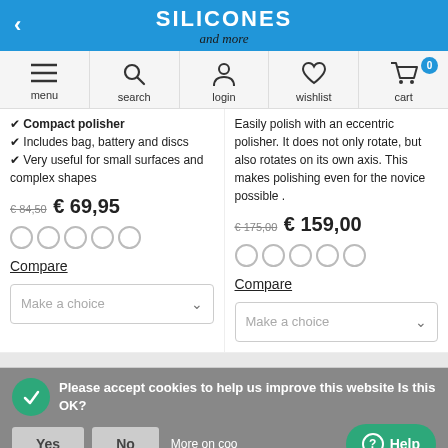SILICONES and more
menu search login wishlist cart
✔ Compact polisher
✔ Includes bag, battery and discs
✔ Very useful for small surfaces and complex shapes
Easily polish with an eccentric polisher. It does not only rotate, but also rotates on its own axis. This makes polishing even for the novice possible .
€ 84,50  € 69,95
€ 175,00  € 159,00
Compare
Compare
Make a choice
Make a choice
Please accept cookies to help us improve this website Is this OK?
Yes  No  More on cookies  Help